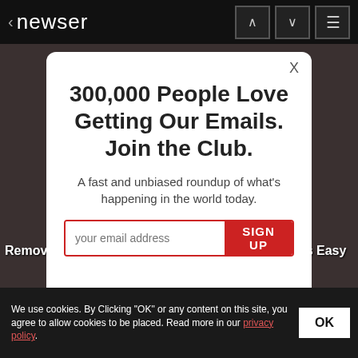< newser
[Figure (screenshot): Dark background showing a partial image of a person, with ad text 'Removing Moles & Skin Tags Has Never Been This Easy' and subtext 'Mole & Skin Tag Removal']
300,000 People Love Getting Our Emails. Join the Club.
A fast and unbiased roundup of what’s happening in the world today.
your email address  SIGN UP
We use cookies. By Clicking “OK” or any content on this site, you agree to allow cookies to be placed. Read more in our privacy policy.